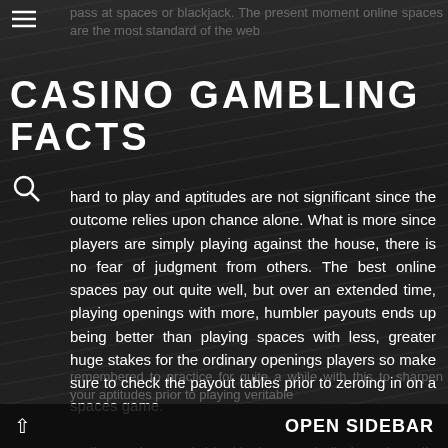CASINO GAMBLING FACTS
hard to play and aptitudes are not significant since the outcome relies upon chance alone. What is more since players are simply playing against the house, there is no fear of judgment from others. The best online spaces pay out quite well, but over an extended time, playing openings with more, humbler payouts ends up being better than playing spaces with less, greater huge stakes for the ordinary openings players so make sure to check the payout tables prior to zeroing in on a spaces game.
Online poker and blackjack are similarly colossally popular. If you have never played online, a part of the regions grant you to play practice games where you do not play with veritable money. It is a savvy
OPEN SIDEBAR